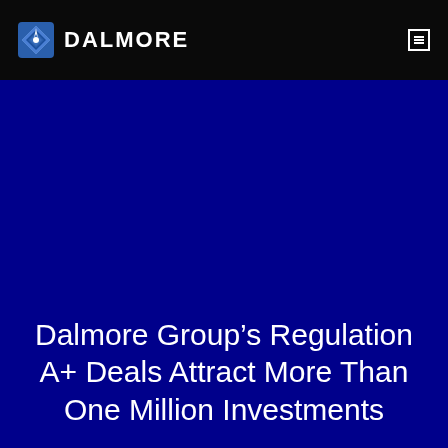[Figure (logo): Dalmore logo: blue diamond/star icon next to bold white text 'DALMORE' on black navigation bar]
Dalmore Group’s Regulation A+ Deals Attract More Than One Million Investments